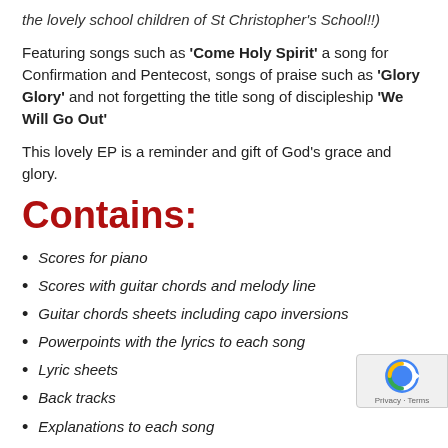the lovely school children of St Christopher's School!!)
Featuring songs such as 'Come Holy Spirit' a song for Confirmation and Pentecost, songs of praise such as 'Glory Glory' and not forgetting the title song of discipleship 'We Will Go Out'
This lovely EP is a reminder and gift of God's grace and glory.
Contains:
Scores for piano
Scores with guitar chords and melody line
Guitar chords sheets including capo inversions
Powerpoints with the lyrics to each song
Lyric sheets
Back tracks
Explanations to each song